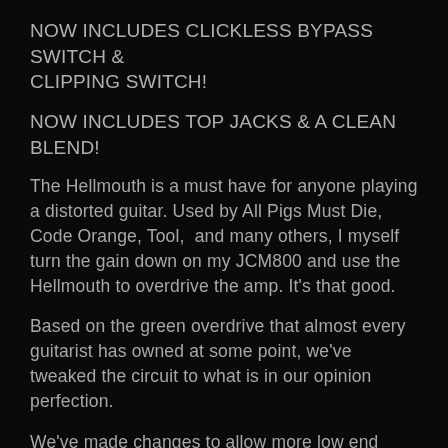NOW INCLUDES CLICKLESS BYPASS SWITCH & CLIPPING SWITCH!
NOW INCLUDES TOP JACKS & A CLEAN BLEND!
The Hellmouth is a must have for anyone playing a distorted guitar. Used by All Pigs Must Die, Code Orange, Tool,  and many others, I myself turn the gain down on my JCM800 and use the Hellmouth to overdrive the amp. It's that good.
Based on the green overdrive that almost every guitarist has owned at some point, we've tweaked the circuit to what is in our opinion perfection.
We've made changes to allow more low end than the original pedal which some avoid due to it's "thin" and treble heavy sound. We've also